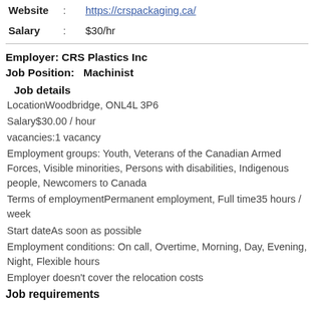| Website | : | https://crspackaging.ca/ |
| Salary | : | $30/hr |
Employer: CRS Plastics Inc
Job Position:   Machinist
Job details
LocationWoodbridge, ONL4L 3P6
Salary$30.00 / hour
vacancies:1 vacancy
Employment groups: Youth, Veterans of the Canadian Armed Forces, Visible minorities, Persons with disabilities, Indigenous people, Newcomers to Canada
Terms of employmentPermanent employment, Full time35 hours / week
Start dateAs soon as possible
Employment conditions: On call, Overtime, Morning, Day, Evening, Night, Flexible hours
Employer doesn't cover the relocation costs
Job requirements